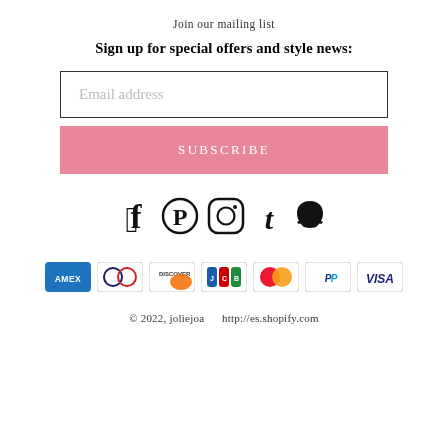Join our mailing list
Sign up for special offers and style news:
Email address
SUBSCRIBE
[Figure (infographic): Social media icons: Facebook, Pinterest, Instagram, Tumblr, Snapchat]
[Figure (infographic): Payment method icons: American Express, Diners Club, Discover, JCB, Mastercard, PayPal, Visa]
© 2022, joliejoa    http://es.shopify.com